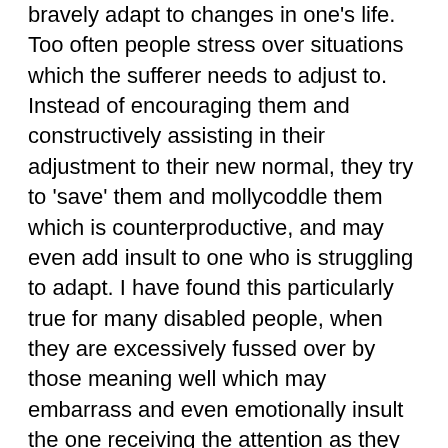bravely adapt to changes in one's life. Too often people stress over situations which the sufferer needs to adjust to. Instead of encouraging them and constructively assisting in their adjustment to their new normal, they try to 'save' them and mollycoddle them which is counterproductive, and may even add insult to one who is struggling to adapt. I have found this particularly true for many disabled people, when they are excessively fussed over by those meaning well which may embarrass and even emotionally insult the one receiving the attention as they are well aware that the more independent they feel they are, the better they feel about themselves.
In Galatians 6:1- 5, Paul the apostle makes an interesting assessment which many struggle to understand and raises the question: What does it mean that one is to carry [bear] each others burdens, and yet carry [bear] their own load? He